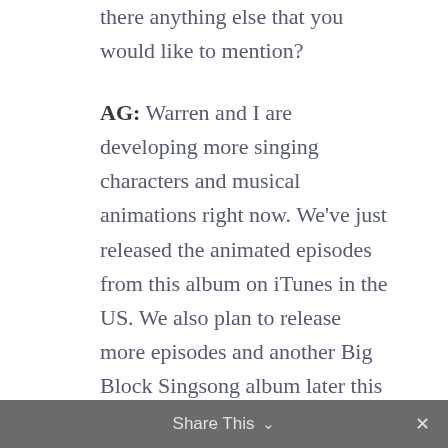there anything else that you would like to mention?
AG: Warren and I are developing more singing characters and musical animations right now. We've just released the animated episodes from this album on iTunes in the US. We also plan to release more episodes and another Big Block Singsong album later this year.
* * * * *
Learn more about this and other Big Block Singsong media at the official Big Block Sing Song website, Facebook, Twitter, YouTube and
Share This ∨  ✕